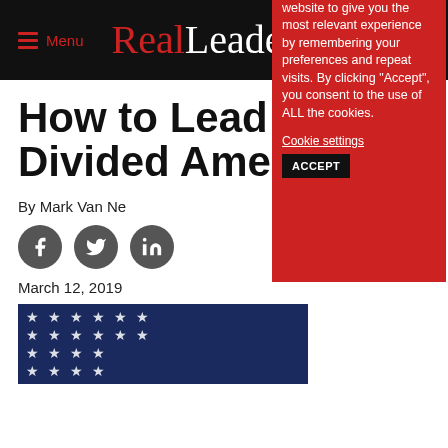Menu RealLeaders®
How to Lead a Divided America
By Mark Van Ne
[Figure (infographic): Social media sharing icons: Facebook, Twitter, LinkedIn]
March 12, 2019
[Figure (photo): American flag image with blue field of stars on dark navy background]
We use cookies on our website to give you the most relevant experience by remembering your preferences and repeat visits. By clicking “Accept”, you consent to the use of ALL the cookies.
Cookie settings   ACCEPT